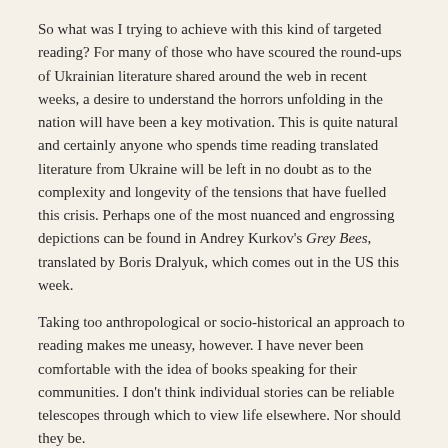So what was I trying to achieve with this kind of targeted reading? For many of those who have scoured the round-ups of Ukrainian literature shared around the web in recent weeks, a desire to understand the horrors unfolding in the nation will have been a key motivation. This is quite natural and certainly anyone who spends time reading translated literature from Ukraine will be left in no doubt as to the complexity and longevity of the tensions that have fuelled this crisis. Perhaps one of the most nuanced and engrossing depictions can be found in Andrey Kurkov's Grey Bees, translated by Boris Dralyuk, which comes out in the US this week.
Taking too anthropological or socio-historical an approach to reading makes me uneasy, however. I have never been comfortable with the idea of books speaking for their communities. I don't think individual stories can be reliable telescopes through which to view life elsewhere. Nor should they be.
So, I decided to return to first principles and remind myself of the ethos that underpinned this project when I launched it ten years ago: curiosity; exploration; accessing voices; seeing what spoke most powerfully to me.